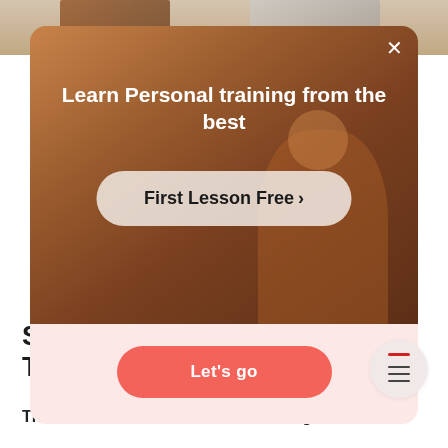[Figure (screenshot): App popup/modal overlay on a fitness education website. Shows a person exercising in background. Modal contains headline 'Learn Personal training from the best', a 'First Lesson Free >' CTA button, a pink bottom bar with a 'Let's go' salmon button, and a close X button.]
Strength or Resistance Traini
These two terms seem to be interchangeable